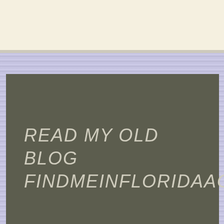[Figure (screenshot): Top cream/beige strip with a light background, partially visible content area at top of page]
READ MY OLD BLOG FINDMEINFLORIDAAGAIN
Select Month
Follow Blog via Email
Advertisements
Getting your team on the same page is easy. And free.